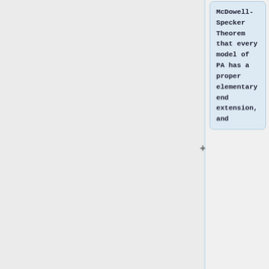McDowell-Specker Theorem that every model of PA has a proper elementary end extension, and
8. Gaifman's theorem that every model of PA has a minimal elementary end extension.